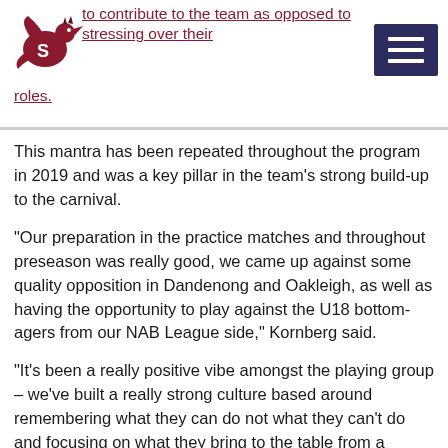to contribute to the team as opposed to stressing over their roles.
This mantra has been repeated throughout the program in 2019 and was a key pillar in the team's strong build-up to the carnival.
“Our preparation in the practice matches and throughout preseason was really good, we came up against some quality opposition in Dandenong and Oakleigh, as well as having the opportunity to play against the U18 bottom-agers from our NAB League side,” Kornberg said.
“It’s been a really positive vibe amongst the playing group – we’ve built a really strong culture based around remembering what they can do not what they can’t do and focusing on what they bring to the table from a strength point of view.”
The second and final game of the Dragons’ U16 carnival gets underway from 10am this morning ( Tuesday April 16) against the Eastern Ranges at Wilson Storage Trevor Barker Beach Oval.